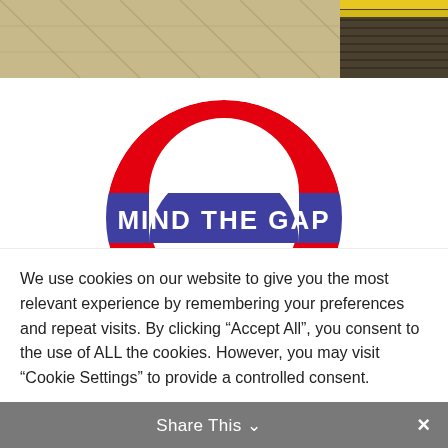[Figure (photo): Top portion of a London Underground station platform photo showing tiled floor and yellow edge stripe, partially cropped]
[Figure (logo): Transport for London roundel logo — red ring with blue horizontal bar reading MIND THE GAP in white bold text]
When I used to go to London often and ride the Underground,
We use cookies on our website to give you the most relevant experience by remembering your preferences and repeat visits. By clicking “Accept All”, you consent to the use of ALL the cookies. However, you may visit "Cookie Settings" to provide a controlled consent.
Cookie Settings
Accept All
Share This ⌄  ×